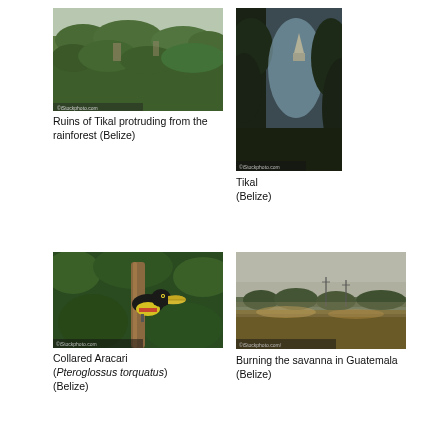[Figure (photo): Aerial/elevated view of ruins of Tikal protruding from the rainforest canopy, Belize]
Ruins of Tikal protruding from the rainforest (Belize)
[Figure (photo): Close-up view through trees at Tikal, Belize, showing tall Mayan pyramid in background]
Tikal (Belize)
[Figure (photo): Collared Aracari (Pteroglossus torquatus) bird perched in trees, Belize]
Collared Aracari (Pteroglossus torquatus) (Belize)
[Figure (photo): Wide landscape view of savanna being burned in Guatemala, Belize]
Burning the savanna in Guatemala (Belize)